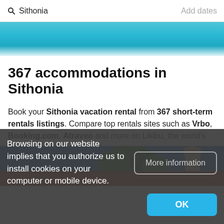Sithonia   Add dates
[Figure (photo): Blue turquoise sea water hero banner strip]
367 accommodations in Sithonia
Book your Sithonia vacation rental from 367 short-term rentals listings. Compare top rentals sites such as Vrbo, Booking.com, Atraveo and more on Likibu, the world's largest rentals Meta search.
[Figure (photo): Property photo showing building with tower, trees, and red roof under blue sky]
Browsing on our website implies that you authorize us to install cookies on your computer or mobile device.
More information
OK